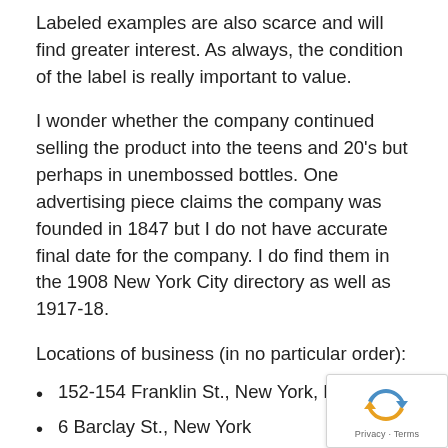Labeled examples are also scarce and will find greater interest.  As always, the condition of the label is really important to value.
I wonder whether the company continued selling the product into the teens and 20's but perhaps in unembossed bottles.  One advertising piece claims the company was founded in 1847 but I do not have accurate final date for the company.  I do find them in the 1908 New York City directory as well as 1917-18.
Locations of business (in no particular order):
152-154 Franklin St.,  New York,  NY
6 Barclay St., New York
90 West Street
Looking for help with the value of your Hoff bot  Post photos and ask questions on our antique bottle